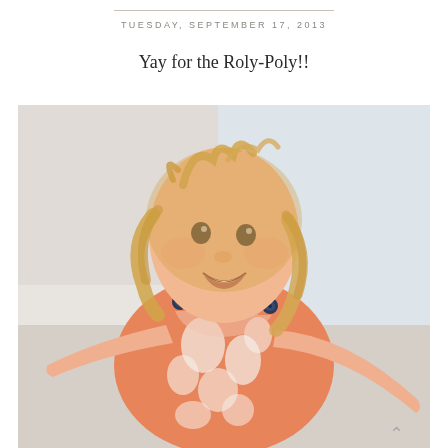TUESDAY, SEPTEMBER 17, 2013
Yay for the Roly-Poly!!
[Figure (photo): A young blonde toddler girl smiling and laughing, wearing an orange floral sleeveless dress with navy button details on the shoulders. She appears to be in motion with arms outstretched, photographed against a light background.]